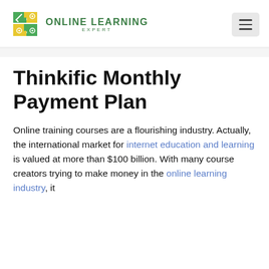Online Learning Expert
Thinkific Monthly Payment Plan
Online training courses are a flourishing industry. Actually, the international market for internet education and learning is valued at more than $100 billion. With many course creators trying to make money in the online learning industry, it